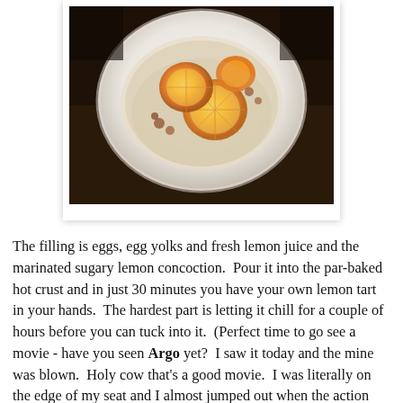[Figure (photo): Overhead photo of a white ceramic dish containing orange slices marinated in sugar, with granular sugar visible around the citrus slices. The dish sits on a dark surface.]
The filling is eggs, egg yolks and fresh lemon juice and the marinated sugary lemon concoction.  Pour it into the par-baked hot crust and in just 30 minutes you have your own lemon tart in your hands.  The hardest part is letting it chill for a couple of hours before you can tuck into it.  (Perfect time to go see a movie - have you seen Argo yet?  I saw it today and the mine was blown.  Holy cow that's a good movie.  I was literally on the edge of my seat and I almost jumped out when the action was at super high intensity